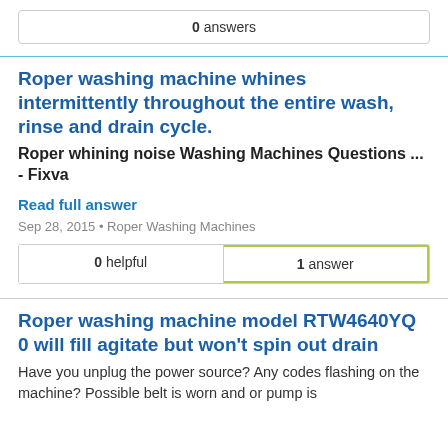0 answers
Roper washing machine whines intermittently throughout the entire wash, rinse and drain cycle.
Roper whining noise Washing Machines Questions ... - Fixva
Read full answer
Sep 28, 2015 • Roper Washing Machines
0 helpful   1 answer
Roper washing machine model RTW4640YQ 0 will fill agitate but won't spin out drain
Have you unplug the power source? Any codes flashing on the machine? Possible belt is worn and or pump is